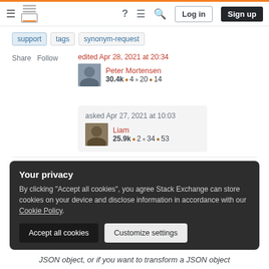Stack Exchange navigation bar with Log in and Sign up buttons
support
tags
synonym-request
Share  Follow
edited Apr 28, 2021 at 20:34
Peter Mortensen
30.4k  4  20  14
asked Apr 27, 2021 at 10:03
Liam
25.9k  2  34  53
Your privacy
By clicking "Accept all cookies", you agree Stack Exchange can store cookies on your device and disclose information in accordance with our Cookie Policy.
Accept all cookies
Customize settings
JSON object, or if you want to transform a JSON object